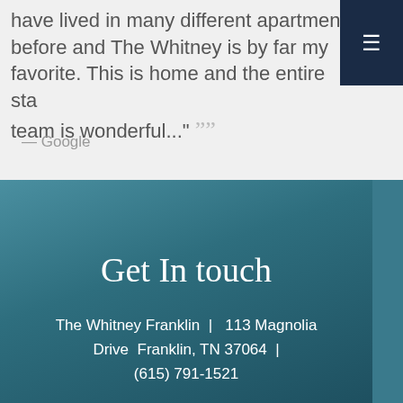have lived in many different apartments before and The Whitney is by far my favorite. This is home and the entire sta[ff] team is wonderful..." ””
— Google
Get In touch
The Whitney Franklin  |  113 Magnolia Drive  Franklin, TN 37064  |  (615) 791-1521
Floor Plan Assistant